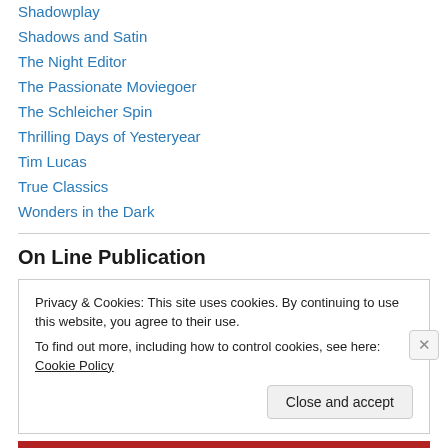Shadowplay
Shadows and Satin
The Night Editor
The Passionate Moviegoer
The Schleicher Spin
Thrilling Days of Yesteryear
Tim Lucas
True Classics
Wonders in the Dark
On Line Publication
Privacy & Cookies: This site uses cookies. By continuing to use this website, you agree to their use. To find out more, including how to control cookies, see here: Cookie Policy
Close and accept